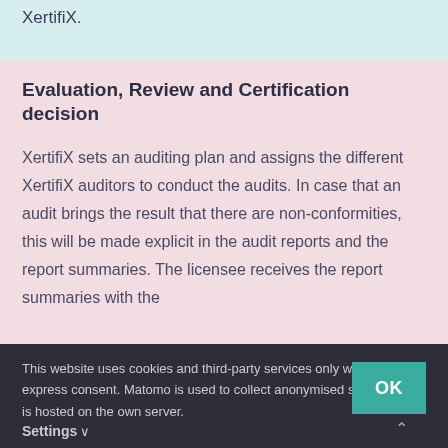XertifiX.
Evaluation, Review and Certification decision
XertifiX sets an auditing plan and assigns the different XertifiX auditors to conduct the audits. In case that an audit brings the result that there are non-conformities, this will be made explicit in the audit reports and the report summaries. The licensee receives the report summaries with the
This website uses cookies and third-party services only with your express consent. Matomo is used to collect anonymised statistics and is hosted on the own server.
Settings ∨
OK